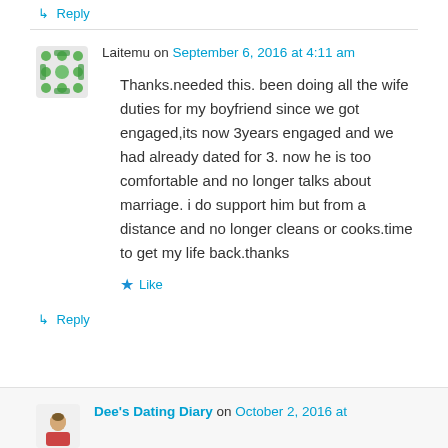↳ Reply
Laitemu on September 6, 2016 at 4:11 am
Thanks.needed this. been doing all the wife duties for my boyfriend since we got engaged,its now 3years engaged and we had already dated for 3. now he is too comfortable and no longer talks about marriage. i do support him but from a distance and no longer cleans or cooks.time to get my life back.thanks
Like
↳ Reply
Dee's Dating Diary on October 2, 2016 at